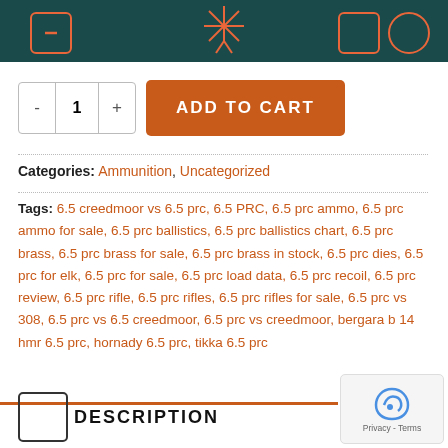Navigation header with logo and icons
- 1 + ADD TO CART
Categories: Ammunition, Uncategorized
Tags: 6.5 creedmoor vs 6.5 prc, 6.5 PRC, 6.5 prc ammo, 6.5 prc ammo for sale, 6.5 prc ballistics, 6.5 prc ballistics chart, 6.5 prc brass, 6.5 prc brass for sale, 6.5 prc brass in stock, 6.5 prc dies, 6.5 prc for elk, 6.5 prc for sale, 6.5 prc load data, 6.5 prc recoil, 6.5 prc review, 6.5 prc rifle, 6.5 prc rifles, 6.5 prc rifles for sale, 6.5 prc vs 308, 6.5 prc vs 6.5 creedmoor, 6.5 prc vs creedmoor, bergara b 14 hmr 6.5 prc, hornady 6.5 prc, tikka 6.5 prc
DESCRIPTION